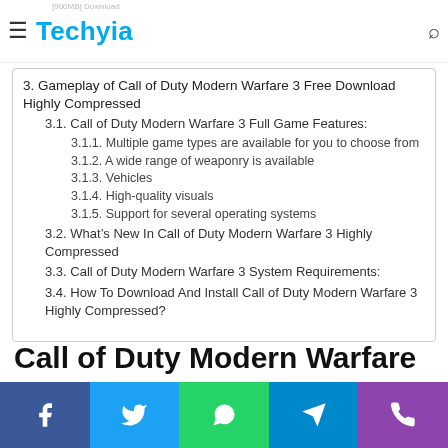Techyia
3. Gameplay of Call of Duty Modern Warfare 3 Free Download Highly Compressed
3.1. Call of Duty Modern Warfare 3 Full Game Features:
3.1.1. Multiple game types are available for you to choose from
3.1.2. A wide range of weaponry is available
3.1.3. Vehicles
3.1.4. High-quality visuals
3.1.5. Support for several operating systems
3.2. What’s New In Call of Duty Modern Warfare 3 Highly Compressed
3.3. Call of Duty Modern Warfare 3 System Requirements:
3.4. How To Download And Install Call of Duty Modern Warfare 3 Highly Compressed?
Call of Duty Modern Warfare 3